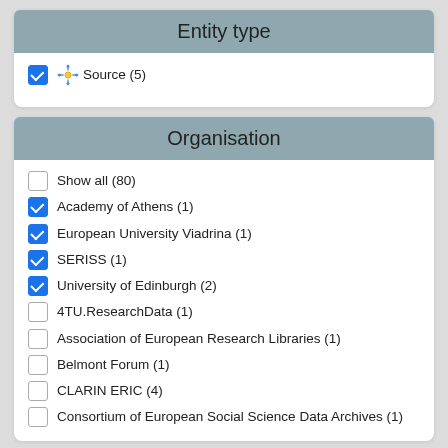Entity type
Source (5)
Organisation
Show all (80)
Academy of Athens (1)
European University Viadrina (1)
SERISS (1)
University of Edinburgh (2)
4TU.ResearchData (1)
Association of European Research Libraries (1)
Belmont Forum (1)
CLARIN ERIC (4)
Consortium of European Social Science Data Archives (1)